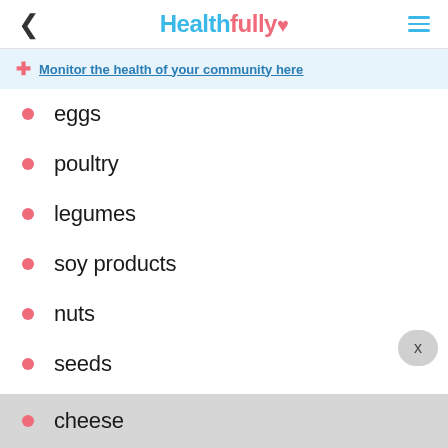Healthfully
Monitor the health of your community here
eggs
poultry
legumes
soy products
nuts
seeds
low-fat milk
yogurt
cheese